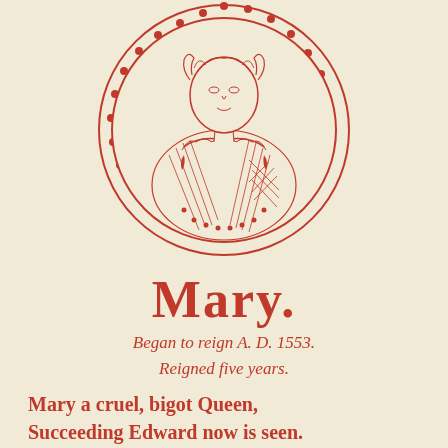[Figure (illustration): Circular medallion portrait illustration of Queen Mary in red ink, showing a woman in Elizabethan-era dress with ruffled collar, hair adorned, rendered in woodcut style within a beaded circular border.]
Mary.
Began to reign A. D. 1553.
Reigned five years.
Mary a cruel, bigot Queen,
Succeeding Edward now is seen.